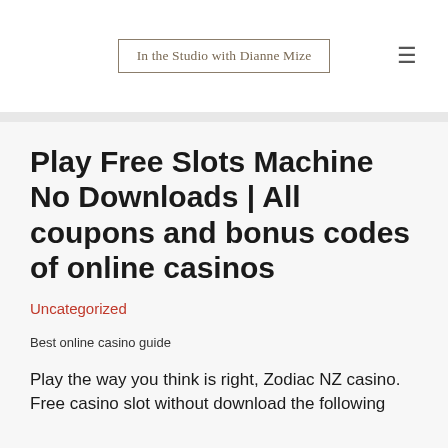In the Studio with Dianne Mize
Play Free Slots Machine No Downloads | All coupons and bonus codes of online casinos
Uncategorized
Best online casino guide
Play the way you think is right, Zodiac NZ casino. Free casino slot without download the following